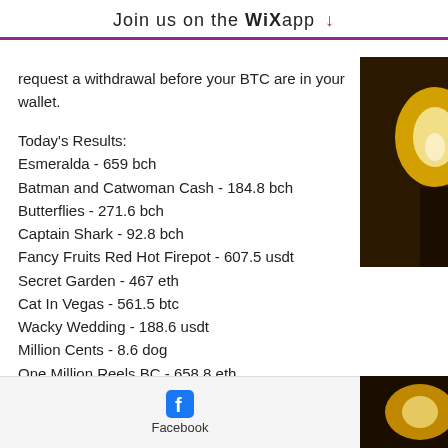Join us on the WiX app ↓
request a withdrawal before your BTC are in your wallet.
Today's Results:
Esmeralda - 659 bch
Batman and Catwoman Cash - 184.8 bch
Butterflies - 271.6 bch
Captain Shark - 92.8 bch
Fancy Fruits Red Hot Firepot - 607.5 usdt
Secret Garden - 467 eth
Cat In Vegas - 561.5 btc
Wacky Wedding - 188.6 usdt
Million Cents - 8.6 dog
One Million Reels BC - 658.8 eth
King of the Jungle Golden Nights - 253.2 usdt
Piggy Bank - 422.3 btc
[Figure (photo): Bright glowing warm yellow-orange light, possibly a lamp or fire, on dark background, visible on the right side of the page]
Facebook